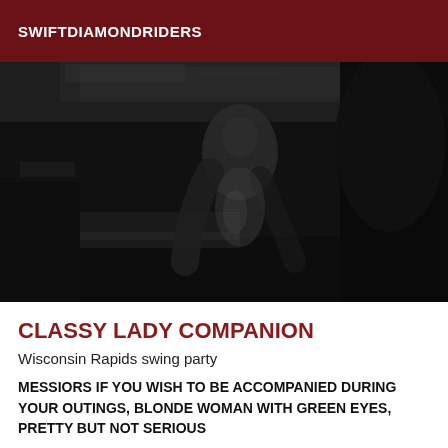SWIFTDIAMONDRIDERS
[Figure (photo): Dark, moody black and white photograph of a figure in silhouette, dimly lit interior scene with wooden furniture visible in background.]
CLASSY LADY COMPANION
Wisconsin Rapids swing party
MESSIORS IF YOU WISH TO BE ACCOMPANIED DURING YOUR OUTINGS, BLONDE WOMAN WITH GREEN EYES, PRETTY BUT NOT SERIOUS